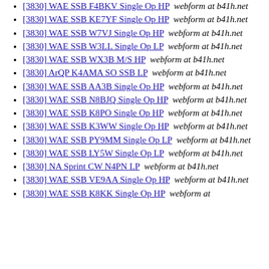[3830] WAE SSB F4BKV Single Op HP  webform at b41h.net
[3830] WAE SSB KE7YF Single Op HP  webform at b41h.net
[3830] WAE SSB W7VJ Single Op HP  webform at b41h.net
[3830] WAE SSB W3LL Single Op LP  webform at b41h.net
[3830] WAE SSB WX3B M/S HP  webform at b41h.net
[3830] ArQP K4AMA SO SSB LP  webform at b41h.net
[3830] WAE SSB AA3B Single Op HP  webform at b41h.net
[3830] WAE SSB N8BJQ Single Op HP  webform at b41h.net
[3830] WAE SSB K8PO Single Op HP  webform at b41h.net
[3830] WAE SSB K3WW Single Op HP  webform at b41h.net
[3830] WAE SSB PY9MM Single Op LP  webform at b41h.net
[3830] WAE SSB LY5W Single Op LP  webform at b41h.net
[3830] NA Sprint CW N4PN LP  webform at b41h.net
[3830] WAE SSB VE9AA Single Op HP  webform at b41h.net
[3830] WAE SSB K8KK Single Op HP  webform at b41h.net (partial)